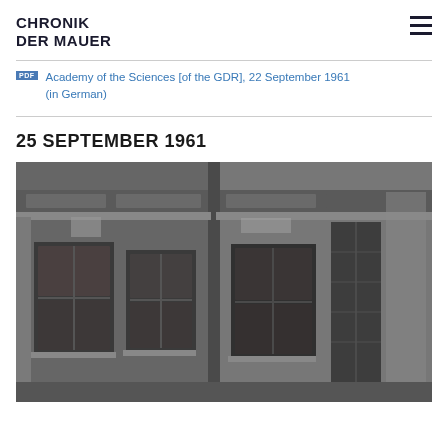CHRONIK DER MAUER
Academy of the Sciences [of the GDR], 22 September 1961 (in German)
25 SEPTEMBER 1961
[Figure (photo): Black and white photograph of a deteriorating building facade with ornate architectural details, bricked-up windows with wooden frames, peeling plaster revealing brick underneath, typical Berlin architecture from the early 1960s]